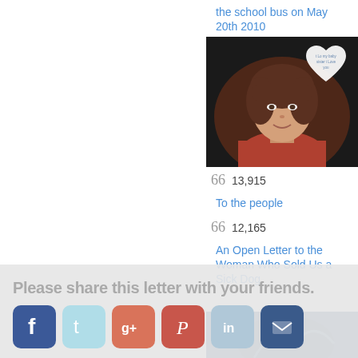the school bus on May 20th 2010
[Figure (photo): Portrait photo of a young woman with brown hair wearing a red top, with a white heart overlay in the top right corner containing text]
13,915
To the people
12,165
An Open Letter to the Woman Who Sold Us a Sick Dog
Please share this letter with your friends.
[Figure (infographic): Social sharing icons: Facebook, Twitter, Google+, Pinterest, LinkedIn, Email]